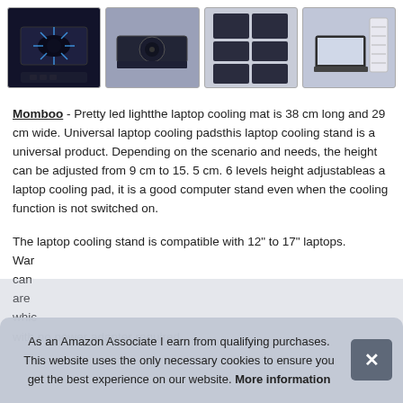[Figure (photo): Four product thumbnail images of a laptop cooling pad/stand showing different angles and features]
Momboo - Pretty led lightthe laptop cooling mat is 38 cm long and 29 cm wide. Universal laptop cooling padsthis laptop cooling stand is a universal product. Depending on the scenario and needs, the height can be adjusted from 9 cm to 15. 5 cm. 6 levels height adjustableas a laptop cooling pad, it is a good computer stand even when the cooling function is not switched on.
The laptop cooling stand is compatible with 12" to 17" laptops. War... can... are... whic... with no power adapter required.
As an Amazon Associate I earn from qualifying purchases. This website uses the only necessary cookies to ensure you get the best experience on our website. More information